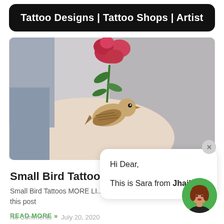Tattoo Designs | Tattoo Shops | Artist
[Figure (photo): A photo of a small bird tattoo on an arm with a red rose and green leaves above it, on a light background]
Small Bird Tattoos
Small Bird Tattoos MORE LI... this post
READ MORE »
Hi Dear,

This is Sara from JhaiHo!
No Comments  •  July 20, 2020